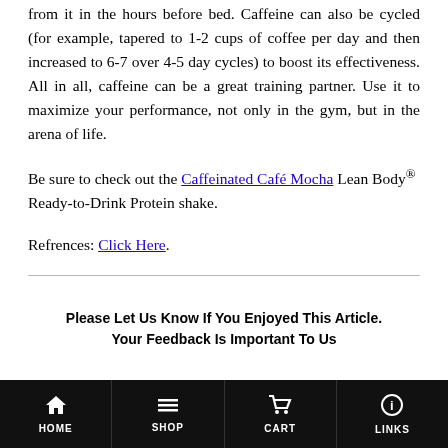from it in the hours before bed. Caffeine can also be cycled (for example, tapered to 1-2 cups of coffee per day and then increased to 6-7 over 4-5 day cycles) to boost its effectiveness. All in all, caffeine can be a great training partner. Use it to maximize your performance, not only in the gym, but in the arena of life.
Be sure to check out the Caffeinated Café Mocha Lean Body® Ready-to-Drink Protein shake.
Refrences: Click Here.
Please Let Us Know If You Enjoyed This Article.
Your Feedback Is Important To Us
HOME  SHOP  CART  LINKS